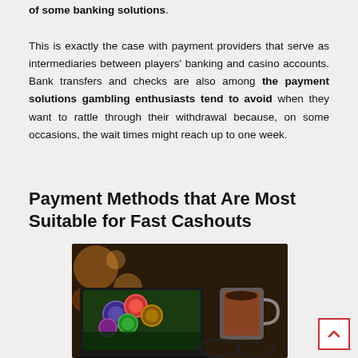of some banking solutions. This is exactly the case with payment providers that serve as intermediaries between players' banking and casino accounts. Bank transfers and checks are also among the payment solutions gambling enthusiasts tend to avoid when they want to rattle through their withdrawal because, on some occasions, the wait times might reach up to one week.
Payment Methods that Are Most Suitable for Fast Cashouts
[Figure (photo): A laptop showing casino chips on screen next to a glass of coffee and eyeglasses on a desk.]